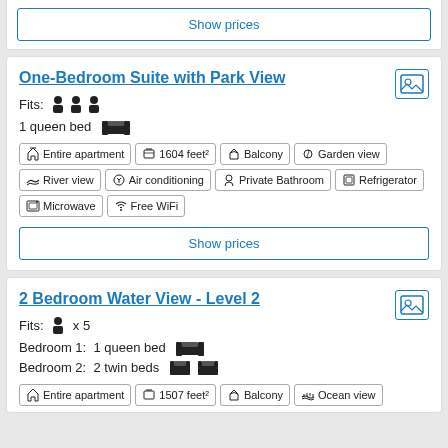Show prices
One-Bedroom Suite with Park View
Fits: [3 person icons]
1 queen bed [bed icon]
Entire apartment
1604 feet²
Balcony
Garden view
River view
Air conditioning
Private Bathroom
Refrigerator
Microwave
Free WiFi
Show prices
2 Bedroom Water View - Level 2
Fits: [person icon] x 5
Bedroom 1: 1 queen bed [bed icon]
Bedroom 2: 2 twin beds [twin bed icons]
Entire apartment
1507 feet²
Balcony
Ocean view